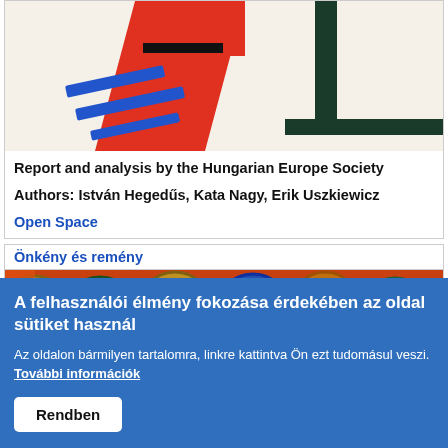[Figure (illustration): Abstract geometric art with red, blue, and dark green shapes on cream background]
Report and analysis by the Hungarian Europe Society

Authors: István Hegedűs, Kata Nagy, Erik Uszkiewicz
Open Space
Önkény és remény
[Figure (photo): Colorful clocks photo with vivid greens, golds, reds, and blues]
A felhasználói élmény fokozása érdekében az oldal sütiket használ
Az oldalon bármilyen tartalomra, linkre kattintva Ön ezt tudomásul veszi.
További információk
Rendben